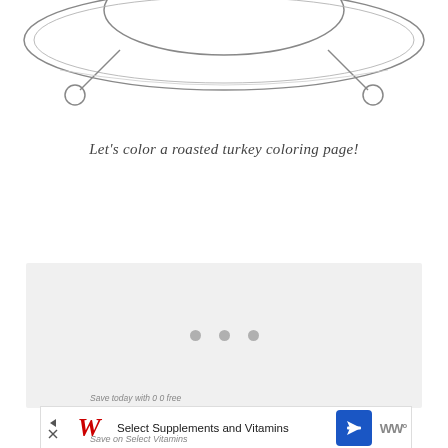[Figure (illustration): Bottom portion of a roasted turkey coloring page illustration showing the outline of a turkey on a platter, partially cropped at top]
Let's color a roasted turkey coloring page!
[Figure (other): Gray placeholder advertisement area with three dots (loading indicator) in the center]
[Figure (other): Advertisement banner for Walgreens showing 'Save today with 0% free' and 'Select Supplements and Vitamins' text with Walgreens logo and navigation icon]